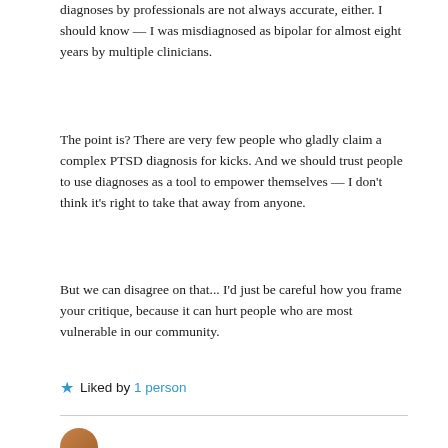diagnoses by professionals are not always accurate, either. I should know — I was misdiagnosed as bipolar for almost eight years by multiple clinicians.
The point is? There are very few people who gladly claim a complex PTSD diagnosis for kicks. And we should trust people to use diagnoses as a tool to empower themselves — I don't think it's right to take that away from anyone.
But we can disagree on that... I'd just be careful how you frame your critique, because it can hurt people who are most vulnerable in our community.
★ Liked by 1 person
[Figure (photo): Circular avatar photo of a person, partially visible at the bottom of the page]